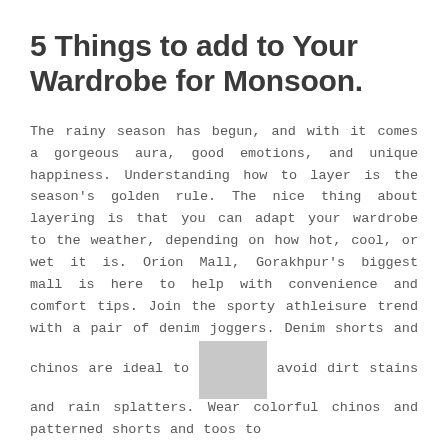5 Things to add to Your Wardrobe for Monsoon.
The rainy season has begun, and with it comes a gorgeous aura, good emotions, and unique happiness. Understanding how to layer is the season's golden rule. The nice thing about layering is that you can adapt your wardrobe to the weather, depending on how hot, cool, or wet it is. Orion Mall, Gorakhpur's biggest mall is here to help with convenience and comfort tips. Join the sporty athleisure trend with a pair of denim joggers. Denim shorts and chinos are ideal to avoid dirt stains and rain splatters. Wear colorful chinos and patterned shorts and toos to